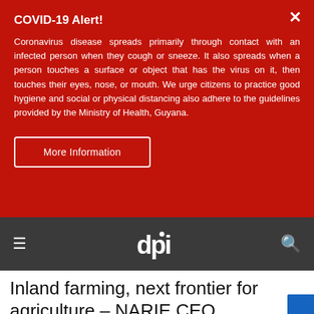COVID-19 Alert!
Coronavirus disease spreads primarily through contact with an infected person when they cough or sneeze. It also spreads when a person touches a surface or object that has the virus on it, then touches their eyes, nose, or mouth. We urge citizens to practice good hygiene and social or physical distancing also adhere to the guidelines provided by the Ministry of Health, Guyana.
More Information
dpi
Inland farming, next frontier for agriculture – NARIE CEO
October 22, 2019